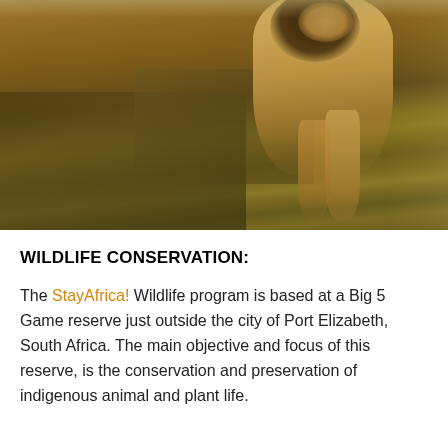[Figure (photo): A lion walking on dry grass savanna terrain in South Africa. The lion appears near the top-right of the image, with brown and golden dry grassland covering the rest of the frame.]
WILDLIFE CONSERVATION:
The StayAfrica! Wildlife program is based at a Big 5 Game reserve just outside the city of Port Elizabeth, South Africa. The main objective and focus of this reserve, is the conservation and preservation of indigenous animal and plant life.